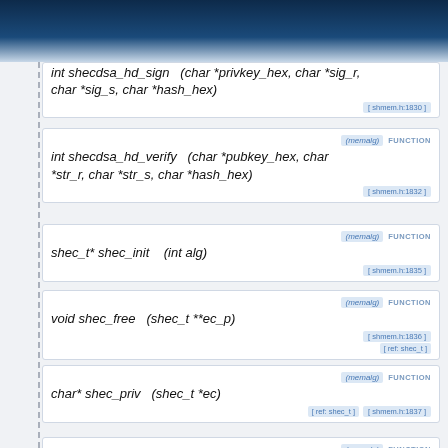[Figure (screenshot): Dark blue textured banner at top of page]
int shecdsa_hd_sign (char *privkey_hex, char *sig_r, char *sig_s, char *hash_hex) [ shmem.h:1830 ]
(memalg) FUNCTION int shecdsa_hd_verify (char *pubkey_hex, char *str_r, char *str_s, char *hash_hex) [ shmem.h:1832 ]
(memalg) FUNCTION shec_t* shec_init (int alg) [ shmem.h:1835 ]
(memalg) FUNCTION void shec_free (shec_t **ec_p) [ ref: shec_t ] [ shmem.h:1836 ]
(memalg) FUNCTION char* shec_priv (shec_t *ec) [ ref: shec_t ] [ shmem.h:1837 ]
(memalg) FUNCTION char* shec_priv_gen (shec_t *ec, unsigned char *data, size_t data_len) [ ref: shec_t ] [ shmem.h:1839 ]